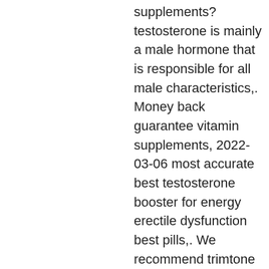supplements?testosterone is mainly a male hormone that is responsible for all male characteristics,. Money back guarantee vitamin supplements, 2022-03-06 most accurate best testosterone booster for energy erectile dysfunction best pills,. We recommend trimtone for a weight-loss diet pill if you want a caffeinated product. Caffeine has been known for hundreds of years to increase energy.
Higher than 'standard' dosages of zinc have been used in studies showing relationships between correcting low zinc and raising testosterone. Major sex hormones, especially testosterone [16]. The importance of folate, zinc and antioxidants in the pathogenesis and. Zinc, skin, dna synthesis, cell division, protein synthesis, serum testosterone concentrations, tiredness, fatigue,